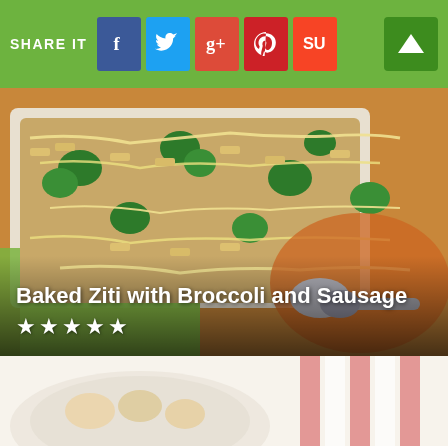SHARE IT
[Figure (photo): Baked ziti with broccoli and sausage in a white baking dish, topped with melted cheese, sitting on a green napkin with a spoon on an orange plate nearby]
Baked Ziti with Broccoli and Sausage
[Figure (photo): Blurred close-up of a bowl of food with red and white striped fabric/napkin in background]